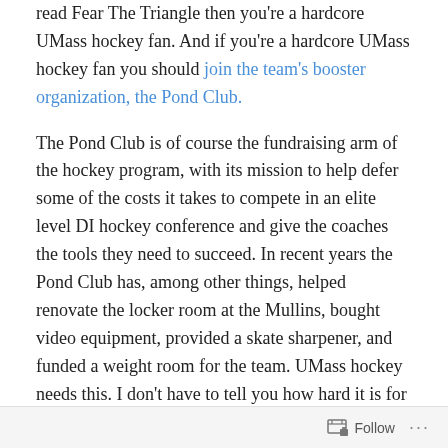read Fear The Triangle then you're a hardcore UMass hockey fan.  And if you're a hardcore UMass hockey fan you should join the team's booster organization, the Pond Club.
The Pond Club is of course the fundraising arm of the hockey program, with its mission to help defer some of the costs it takes to compete in an elite level DI hockey conference and give the coaches the tools they need to succeed.  In recent years the Pond Club has, among other things, helped renovate the locker room at the Mullins, bought video equipment, provided a skate sharpener, and funded a weight room for the team.  UMass hockey needs this.  I don't have to tell you how hard it is for teams in Hockey East to break into the “top 4” of the conference.
Follow